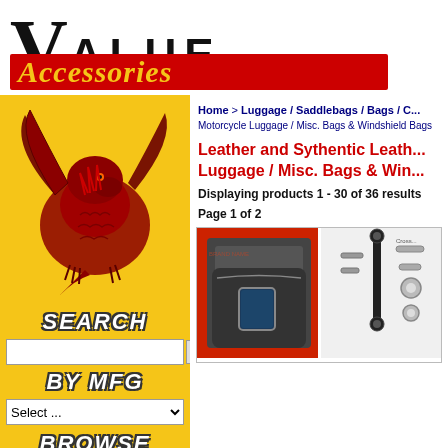[Figure (logo): Value Accessories logo with large V, red bar, and yellow italic text]
[Figure (illustration): Red dragon illustration on yellow background in left sidebar]
SEARCH
Go
BY MFG
Select ...
BROWSE
Chatterbox & SENA Comm. Kits, Intercom & Acc.
ACCESSORIES
Home > Luggage / Saddlebags / Bags / C...
Motorcycle Luggage / Misc. Bags & Windshield Bags
Leather and Sythentic Leather Luggage / Misc. Bags & Win...
Displaying products 1 - 30 of 36 results
Page 1 of 2
[Figure (photo): Dark motorcycle tank bag with transparent window, shown on red background]
[Figure (photo): Motorcycle luggage mounting hardware/bracket on white background]